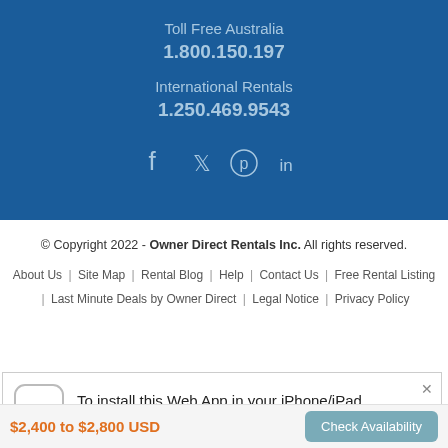Toll Free Australia
1.800.150.197
International Rentals
1.250.469.9543
[Figure (infographic): Social media icons: Facebook, Twitter, Pinterest, LinkedIn]
© Copyright 2022 - Owner Direct Rentals Inc. All rights reserved.
About Us | Site Map | Rental Blog | Help | Contact Us | Free Rental Listing | Last Minute Deals by Owner Direct | Legal Notice | Privacy Policy
[Figure (screenshot): Popup banner: To install this Web App in your iPhone/iPad press + and then 'Add to Home Screen']
$2,400 to $2,800 USD
Check Availability